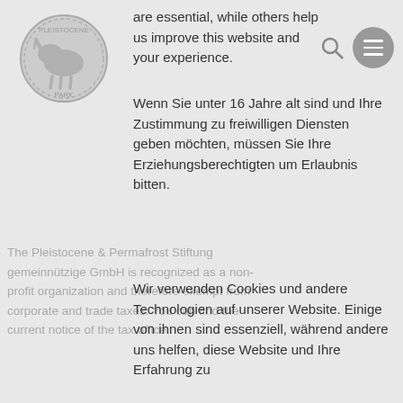are essential, while others help us improve this website and your experience.
Wenn Sie unter 16 Jahre alt sind und Ihre Zustimmung zu freiwilligen Diensten geben möchten, müssen Sie Ihre Erziehungsberechtigten um Erlaubnis bitten.
The Pleistocene & Permafrost Stiftung gemeinnützige GmbH is recognized as a non-profit organization and therefore exempt from corporate and trade taxes. You can find the current notice of the tax office.
Wir verwenden Cookies und andere Technologien auf unserer Website. Einige von ihnen sind essenziell, während andere uns helfen, diese Website und Ihre Erfahrung zu
[Figure (screenshot): Cookie consent checkboxes: Essential (checked), Statistics (unchecked), Marketing (partially checked), External Medien (unchecked)]
4. Name and function of our decision-
Managing directors are Michael Kurzeja and Bernd Zehentbauer. Here you can find more information.
5. Scope of activities